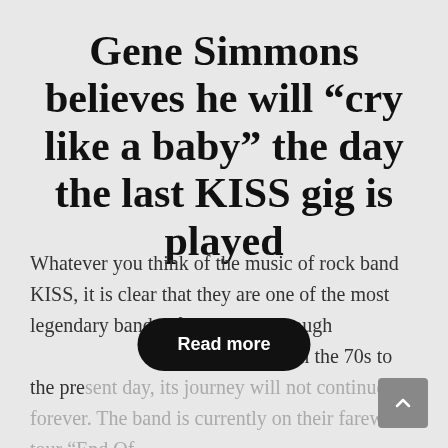Gene Simmons believes he will “cry like a baby” the day the last KISS gig is played
Whatever you think of the music of rock band KISS, it is clear that they are one of the most legendary bands of all time. Although [Read more overlay] at work from the 70s to the present day, its journey will not continue forever. The band is currently on their farewell tour “End Of...